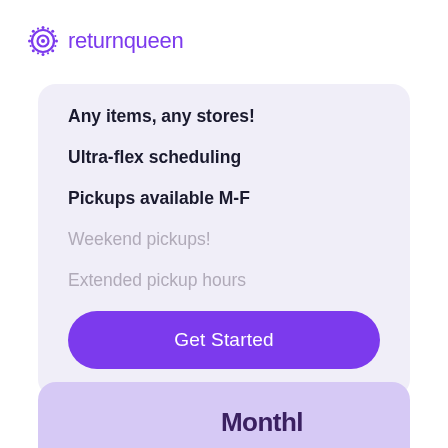[Figure (logo): Return Queen logo: decorative circular icon followed by 'returnqueen' in purple text]
Any items, any stores!
Ultra-flex scheduling
Pickups available M-F
Weekend pickups!
Extended pickup hours
Get Started
Monthl...